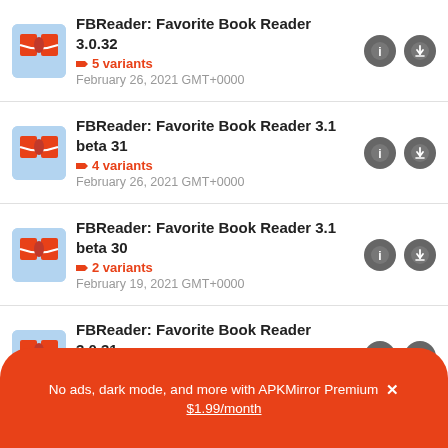FBReader: Favorite Book Reader 3.0.32 | 5 variants | February 26, 2021 GMT+0000
FBReader: Favorite Book Reader 3.1 beta 31 | 4 variants | February 26, 2021 GMT+0000
FBReader: Favorite Book Reader 3.1 beta 30 | 2 variants | February 19, 2021 GMT+0000
FBReader: Favorite Book Reader 3.0.31 | 4 variants | February 18, 2021 GMT+0000
No ads, dark mode, and more with APKMirror Premium × $1.99/month